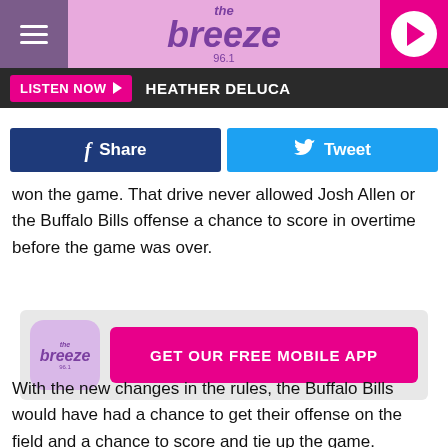the breeze 96.1
LISTEN NOW  HEATHER DELUCA
Share   Tweet
won the game. That drive never allowed Josh Allen or the Buffalo Bills offense a chance to score in overtime before the game was over.
[Figure (logo): The Breeze 96.1 app logo with GET OUR FREE MOBILE APP button]
With the new changes in the rules, the Buffalo Bills would have had a chance to get their offense on the field and a chance to score and tie up the game.